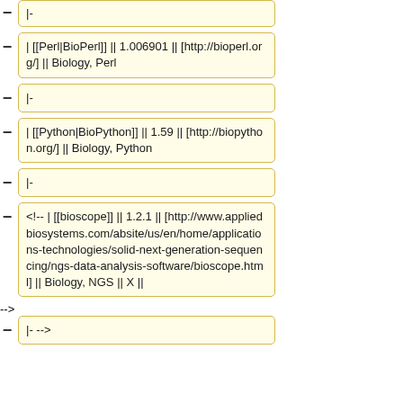|-
| [[Perl|BioPerl]] || 1.006901 || [http://bioperl.org/] || Biology, Perl
|-
| [[Python|BioPython]] || 1.59 || [http://biopython.org/] || Biology, Python
|-
<!-- | [[bioscope]] || 1.2.1 || [http://www.appliedbiosystems.com/absite/us/en/home/applications-technologies/solid-next-generation-sequencing/ngs-data-analysis-software/bioscope.html] || Biology, NGS || X ||
|- -->